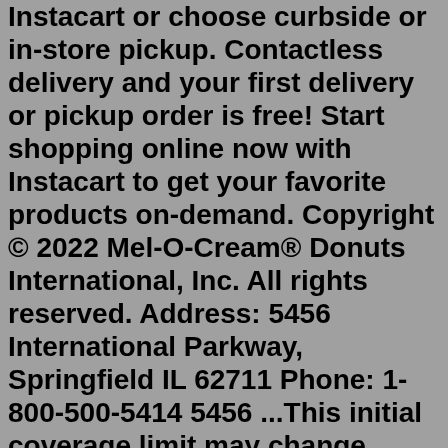Instacart or choose curbside or in-store pickup. Contactless delivery and your first delivery or pickup order is free! Start shopping online now with Instacart to get your favorite products on-demand. Copyright © 2022 Mel-O-Cream® Donuts International, Inc. All rights reserved. Address: 5456 International Parkway, Springfield IL 62711 Phone: 1-800-500-5414 5456 ...This initial coverage limit may change annually. Out-of-pocket threshold (also known as the coverage gap or donut hole: Not everyone will reach this phase; it begins if you and your plan spend a combined $4,020 in 2020 as described above. While in the coverage gap, you'll typically pay up to 25% of the plan's cost for both covered brand ...Get First Street Donut Holes, Old Fashioned delivered to you in as fast as 1 hour via Instacart or choose curbside or in-store pickup. Contactless delivery and your first delivery or pickup order is free! Start shopping online now with Instacart to get your favorite products on-demand. Freshness Guaranteed Chocolate Iced Donuts, 2 Count, Pickup Delivery, $3.76. Freshness